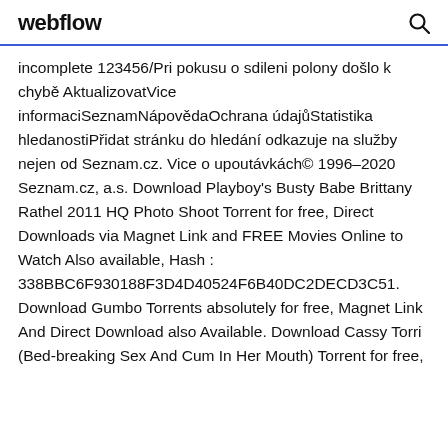webflow
incomplete 123456/Pri pokusu o sdileni polony došlo k chybě AktualizovatVice informaciSeznamNápovědaOchrana údajůStatistika hledanostiPřidat stránku do hledání odkazuje na služby nejen od Seznam.cz. Vice o upoutávkách© 1996–2020 Seznam.cz, a.s. Download Playboy's Busty Babe Brittany Rathel 2011 HQ Photo Shoot Torrent for free, Direct Downloads via Magnet Link and FREE Movies Online to Watch Also available, Hash : 338BBC6F930188F3D4D40524F6B40DC2DECD3C51. Download Gumbo Torrents absolutely for free, Magnet Link And Direct Download also Available. Download Cassy Torri (Bed-breaking Sex And Cum In Her Mouth) Torrent for free,